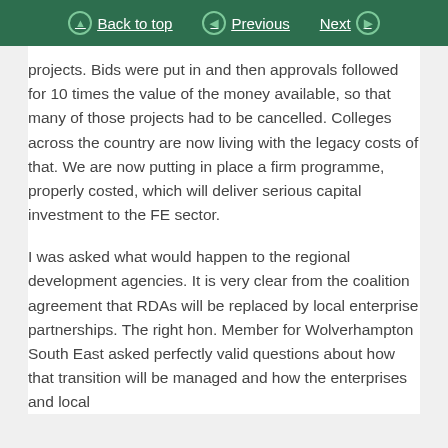Back to top | Previous | Next
projects. Bids were put in and then approvals followed for 10 times the value of the money available, so that many of those projects had to be cancelled. Colleges across the country are now living with the legacy costs of that. We are now putting in place a firm programme, properly costed, which will deliver serious capital investment to the FE sector.
I was asked what would happen to the regional development agencies. It is very clear from the coalition agreement that RDAs will be replaced by local enterprise partnerships. The right hon. Member for Wolverhampton South East asked perfectly valid questions about how that transition will be managed and how the enterprises and local